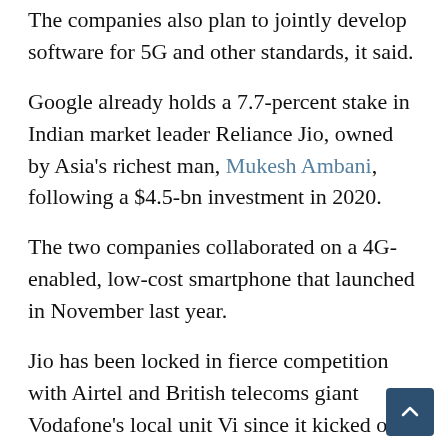The companies also plan to jointly develop software for 5G and other standards, it said.
Google already holds a 7.7-percent stake in Indian market leader Reliance Jio, owned by Asia's richest man, Mukesh Ambani, following a $4.5-bn investment in 2020.
The two companies collaborated on a 4G-enabled, low-cost smartphone that launched in November last year.
Jio has been locked in fierce competition with Airtel and British telecoms giant Vodafone's local unit Vi since it kicked off a price war in 2016...